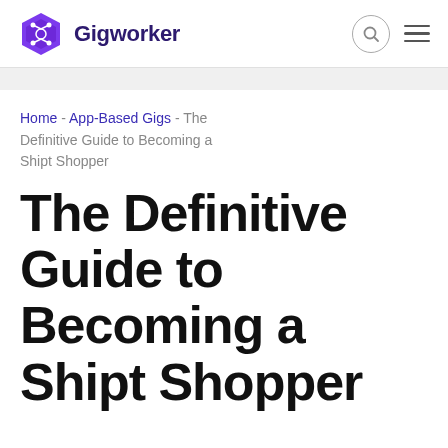Gigworker
Home - App-Based Gigs - The Definitive Guide to Becoming a Shipt Shopper
The Definitive Guide to Becoming a Shipt Shopper